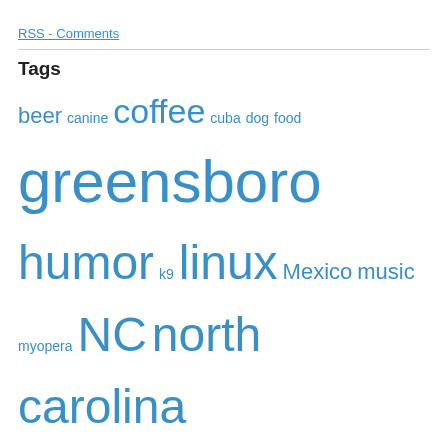RSS - Comments
Tags
beer canine coffee cuba dog food greensboro humor k9 linux Mexico music myopera NC north carolina smalldogclub starbucks travel ubuntu usa
Meta
Register
Log in
Entries feed
Comments feed